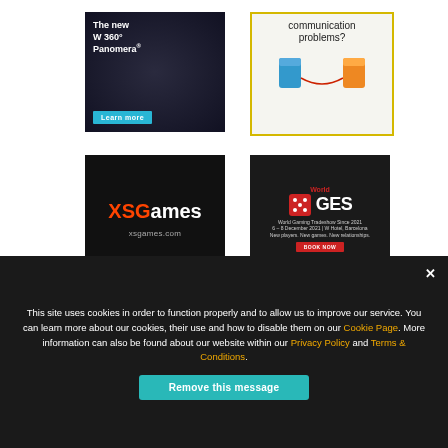[Figure (photo): Panomera W 360° camera advertisement with dark background and 'Learn more' button]
[Figure (photo): Communication problems? advertisement with string telephone cups image and yellow border]
[Figure (logo): XSGames advertisement with orange and white logo on black background, xsgames.com]
[Figure (photo): World GES advertisement on dark background with red dice logo, Barcelona event December 2021]
Epicentral Print System
This site uses cookies in order to function properly and to allow us to improve our service. You can learn more about our cookies, their use and how to disable them on our Cookie Page. More information can also be found about our website within our Privacy Policy and Terms & Conditions.
Remove this message